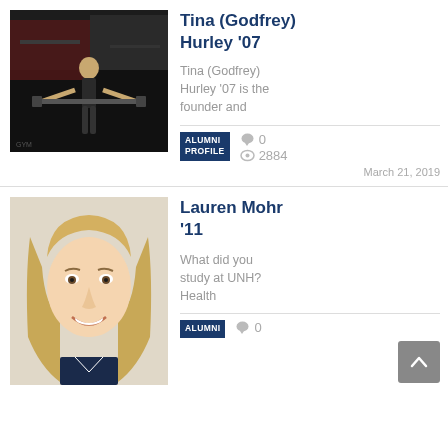[Figure (photo): Woman lifting barbell in a dark gym setting]
Tina (Godfrey) Hurley '07
Tina (Godfrey) Hurley '07 is the founder and
ALUMNI PROFILE   0   2884   March 21, 2019
[Figure (photo): Smiling young woman with long blonde hair, headshot]
Lauren Mohr '11
What did you study at UNH? Health
ALUMNI   0